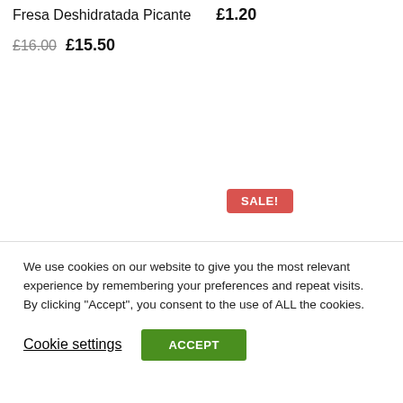Fresa Deshidratada Picante  £1.20
£16.00  £15.50
SALE!
[Figure (illustration): Two loading spinner icons (circular dashed rings indicating loading state)]
We use cookies on our website to give you the most relevant experience by remembering your preferences and repeat visits. By clicking "Accept", you consent to the use of ALL the cookies.
Cookie settings
ACCEPT